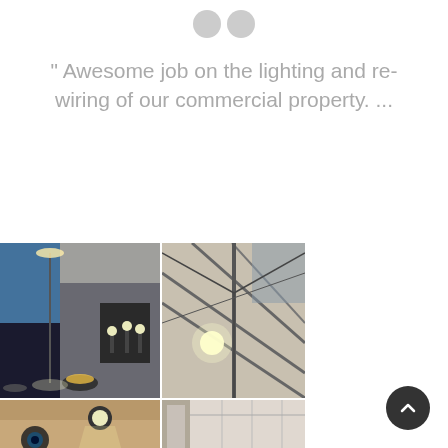[Figure (illustration): Two grey quotation mark circles icon at top center]
" Awesome job on the lighting and re-wiring of our commercial property. ...
[Figure (photo): Grid of four photos showing lighting and electrical work in commercial properties: top-left shows a room with various floor lamps on dark floor with blue window; top-right shows a tent or marquee structure with lighting rigs and cables; bottom-left shows a ceiling spotlight; bottom-right shows a corridor or hallway]
[Figure (other): Scroll-to-top button, dark circle with upward arrow, bottom right corner]